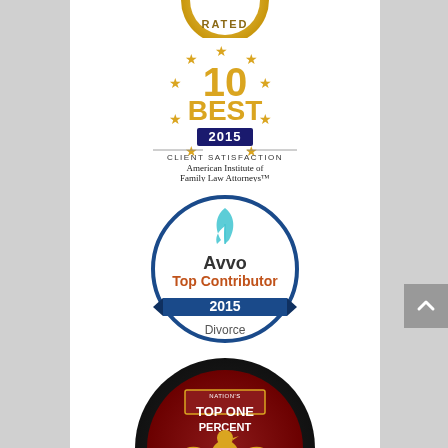[Figure (logo): Partially visible gold/yellow rated badge seal at top]
[Figure (logo): 10 Best 2015 Client Satisfaction - American Institute of Family Law Attorneys badge with gold stars]
[Figure (logo): Avvo Top Contributor 2015 Divorce badge with blue ribbon and teal feather icon]
[Figure (logo): National Association of Distinguished Counsel - Nation's Top One Percent - NADC circular badge with eagle]